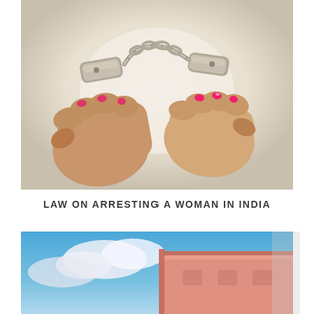[Figure (photo): Close-up photo of two handcuffed female hands with pink nail polish, hands clenched into fists, handcuffs visible at the wrists, light/beige background]
LAW ON ARRESTING A WOMAN IN INDIA
[Figure (photo): Partial photo showing the corner/roof of a pink/salmon colored building against a blue sky with clouds, image cropped at bottom of page]